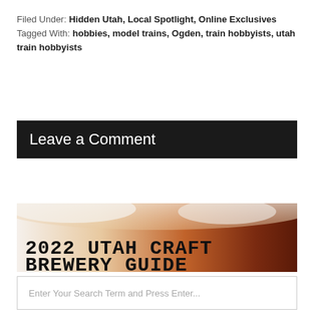Filed Under: Hidden Utah, Local Spotlight, Online Exclusives
Tagged With: hobbies, model trains, Ogden, train hobbyists, utah train hobbyists
Leave a Comment
[Figure (illustration): 2022 Utah Craft Brewery Guide banner image with beer foam and amber beer background and bold black text reading '2022 UTAH CRAFT BREWERY GUIDE']
Enter Your Search Term and Press Enter...